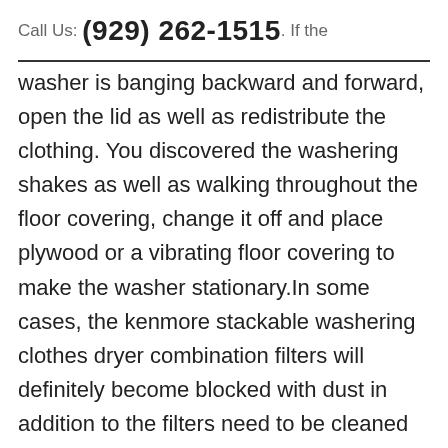Call Us: (929) 262-1515. If the
washer is banging backward and forward, open the lid as well as redistribute the clothing. You discovered the washering shakes as well as walking throughout the floor covering, change it off and place plywood or a vibrating floor covering to make the washer stationary.In some cases, the kenmore stackable washering clothes dryer combination filters will definitely become blocked with dust in addition to the filters need to be cleaned up. The filters